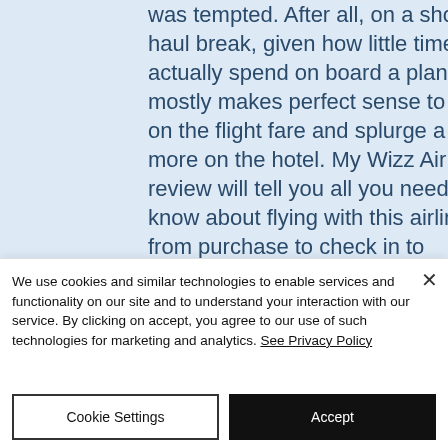was tempted. After all, on a short-haul break, given how little time you actually spend on board a plane, it mostly makes perfect sense to save on the flight fare and splurge a bit more on the hotel. My Wizz Air review will tell you all you need to know about flying with this airline, from purchase to check in to boarding and, finally, the in-flight experience.  So if you are considering flying with Wizz
We use cookies and similar technologies to enable services and functionality on our site and to understand your interaction with our service. By clicking on accept, you agree to our use of such technologies for marketing and analytics. See Privacy Policy